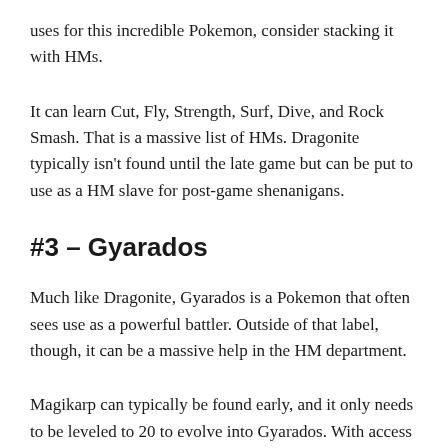uses for this incredible Pokemon, consider stacking it with HMs.
It can learn Cut, Fly, Strength, Surf, Dive, and Rock Smash. That is a massive list of HMs. Dragonite typically isn't found until the late game but can be put to use as a HM slave for post-game shenanigans.
#3 – Gyarados
Much like Dragonite, Gyarados is a Pokemon that often sees use as a powerful battler. Outside of that label, though, it can be a massive help in the HM department.
Magikarp can typically be found early, and it only needs to be leveled to 20 to evolve into Gyarados. With access to